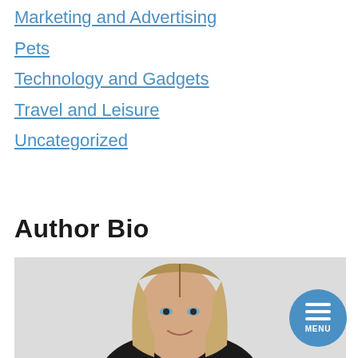Marketing and Advertising
Pets
Technology and Gadgets
Travel and Leisure
Uncategorized
Author Bio
[Figure (photo): Portrait photo of a blonde woman with straight hair wearing a black top, smiling, on a light gray background. A circular blue menu button with three horizontal lines and the text MENU is overlaid in the bottom right.]